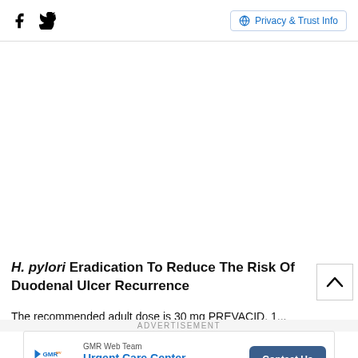[Facebook icon] [Twitter icon] | Privacy & Trust Info
H. pylori Eradication To Reduce The Risk Of Duodenal Ulcer Recurrence
The recommended adult dose is 30 mg PREVACID, 1...
[Figure (infographic): Advertisement banner for GMR Web Team Urgent Care Center Marketing with Contact Us button]